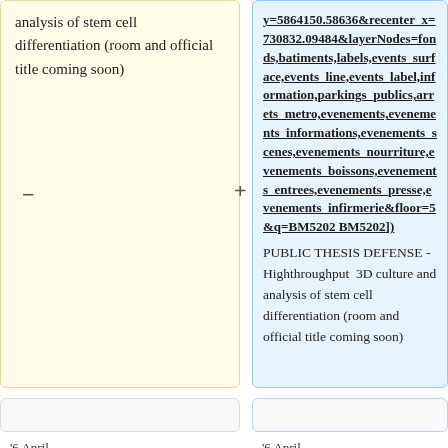analysis of stem cell differentiation (room and official title coming soon)
y=5864150.58636&recenter_x=730832.09484&layerNodes=fonds,batiments,labels,events_surface,events_line,events_label,information,parkings_publics,arrets_metro,evenements,evenements_informations,evenements_scenes,evenements_nourriture,evenements_boissons,evenements_entrees,evenements_presse,evenements_infirmerie&floor=5&q=BM5202 BM5202]) PUBLIC THESIS DEFENSE - Highthroughput 3D culture and analysis of stem cell differentiation (room and official title coming soon)
'6 April
'6 April